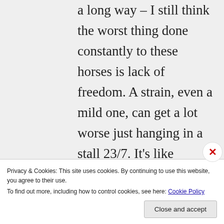a long way – I still think the worst thing done constantly to these horses is lack of freedom. A strain, even a mild one, can get a lot worse just hanging in a stall 23/7. It's like they're either eating, sleeping, or on the
Privacy & Cookies: This site uses cookies. By continuing to use this website, you agree to their use.
To find out more, including how to control cookies, see here: Cookie Policy